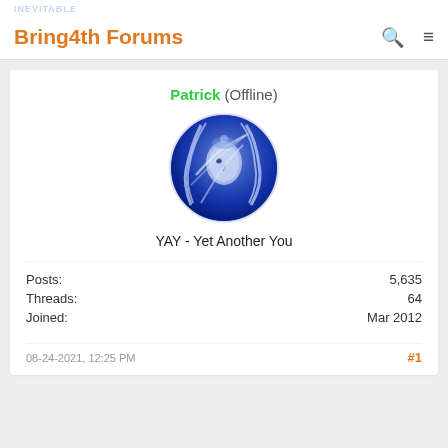Bring4th Forums
Patrick (Offline)
[Figure (illustration): Circular avatar image showing a blue-toned artistic illustration of a woman with flowing white/blue hair and ethereal appearance]
YAY - Yet Another You
| Label | Value |
| --- | --- |
| Posts: | 5,635 |
| Threads: | 64 |
| Joined: | Mar 2012 |
08-24-2021, 12:25 PM
#1